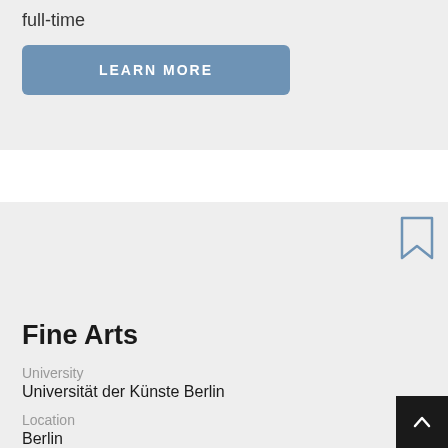full-time
LEARN MORE
Fine Arts
University
Universität der Künste Berlin
Location
Berlin